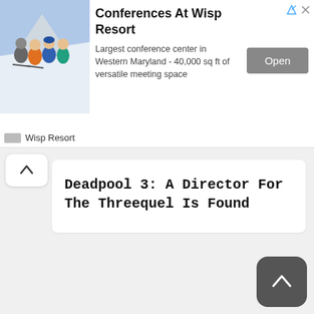[Figure (screenshot): Advertisement banner for Conferences At Wisp Resort showing a group of skiers photo on the left, ad title, description text, Open button, and Wisp Resort brand logo at bottom.]
Deadpool 3: A Director For The Threequel Is Found